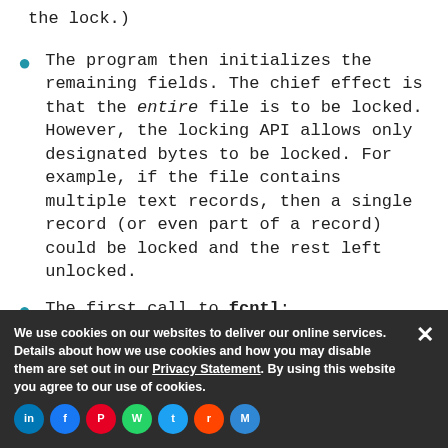the lock.)
The program then initializes the remaining fields. The chief effect is that the entire file is to be locked. However, the locking API allows only designated bytes to be locked. For example, if the file contains multiple text records, then a single record (or even part of a record) could be locked and the rest left unlocked.
The first call to fcntl:
if (fcntl(fd, F_SETLK, &lock
whether the